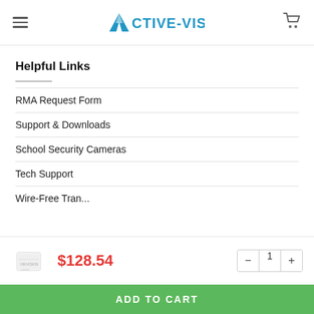Active-Vision
Helpful Links
RMA Request Form
Support & Downloads
School Security Cameras
Tech Support
$128.54
Add to cart